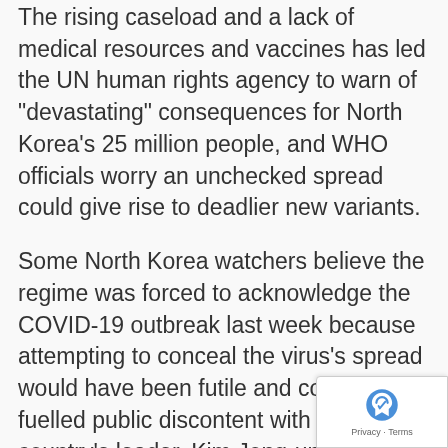The rising caseload and a lack of medical resources and vaccines has led the UN human rights agency to warn of "devastating" consequences for North Korea's 25 million people, and WHO officials worry an unchecked spread could give rise to deadlier new variants.
Some North Korea watchers believe the regime was forced to acknowledge the COVID-19 outbreak last week because attempting to conceal the virus's spread would have been futile and could have fuelled public discontent with the country's leader, Kim Jong-un.
Instead, they believe North Korean authorities are underreporting deaths to prove that their response has been effective.